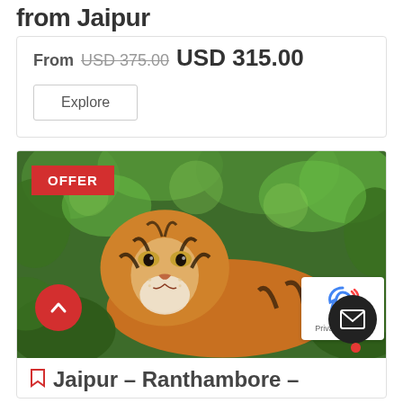from Jaipur
From USD 375.00  USD 315.00
Explore
[Figure (photo): A tiger resting among green foliage, looking toward the camera. Red OFFER badge in top-left corner. Red scroll-up button in bottom-left. reCAPTCHA widget and mail button in the bottom-right.]
Jaipur – Ranthambore –